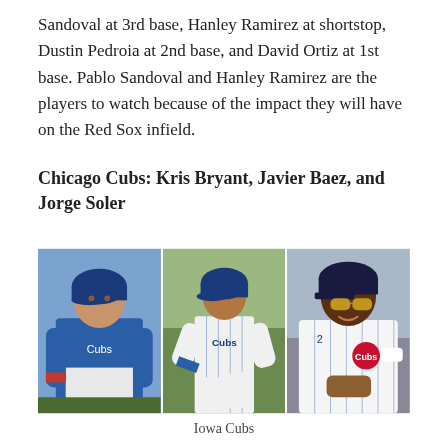Sandoval at 3rd base, Hanley Ramirez at shortstop, Dustin Pedroia at 2nd base, and David Ortiz at 1st base. Pablo Sandoval and Hanley Ramirez are the players to watch because of the impact they will have on the Red Sox infield.
Chicago Cubs: Kris Bryant, Javier Baez, and Jorge Soler
[Figure (photo): Three photos of Chicago Cubs baseball players in blue pinstripe uniforms, identified as Iowa Cubs players. Left photo: player in blue helmet looking up. Center: player running in Cubs uniform. Right: player smiling wearing sunglasses and a Cubs jersey.]
Iowa Cubs